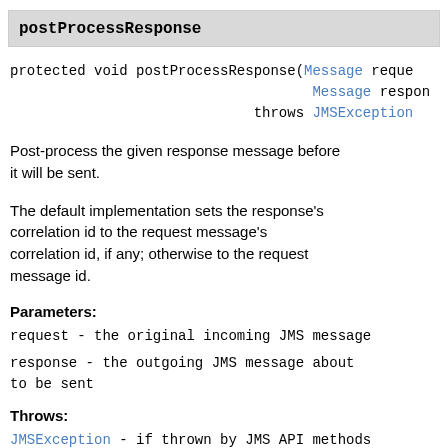postProcessResponse
protected void postProcessResponse(Message request,
                                    Message response)
                             throws JMSException
Post-process the given response message before it will be sent.
The default implementation sets the response's correlation id to the request message's correlation id, if any; otherwise to the request message id.
Parameters:
request - the original incoming JMS message
response - the outgoing JMS message about to be sent
Throws:
JMSException - if thrown by JMS API methods
See Also: